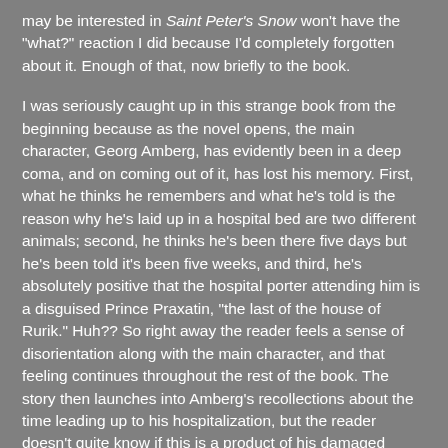may be interested in Saint Peter's Snow won't have the "what?" reaction I did because I'd completely forgotten about it.  Enough of that, now briefly to the book.
I was seriously caught up in this strange book from the beginning because as the novel opens, the main character, Georg Amberg, has evidently been in a deep coma, and on coming out of it, has lost his memory.  First, what he thinks he remembers and what he's told is the reason why he's laid up in a hospital bed are two different animals; second, he thinks he's been there five days but he's been told it's been five weeks, and third, he's absolutely positive that the hospital porter attending him is a disguised Prince Praxatin, "the last of the house of Rurik." Huh??  So right away the reader feels a sense of disorientation along with the main character, and that feeling continues throughout the rest of the book.  The story then launches into Amberg's recollections about the time leading up to his hospitalization, but the reader doesn't quite know if this is a product of his damaged memory or if what he's saying is actually what happened.  It's a balancing act where the reader walks a fine line -- you have to decide if what Amberg remembers is